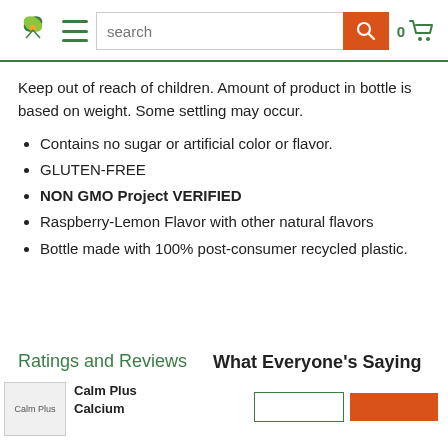Navigation header with logo, hamburger menu, search bar, and cart icon (0 items)
Keep out of reach of children. Amount of product in bottle is based on weight. Some settling may occur.
Contains no sugar or artificial color or flavor.
GLUTEN-FREE
NON GMO Project VERIFIED
Raspberry-Lemon Flavor with other natural flavors
Bottle made with 100% post-consumer recycled plastic.
Ratings and Reviews
What Everyone's Saying
[Figure (screenshot): Calm Plus product thumbnail image (partial)]
Calm Plus Calcium